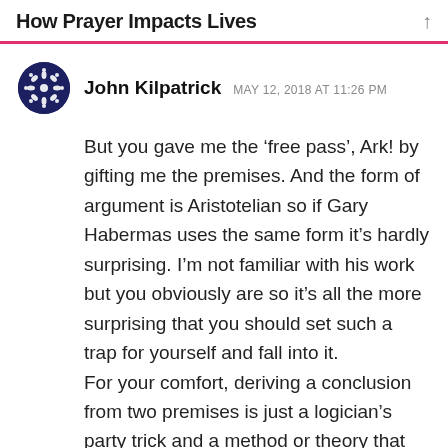How Prayer Impacts Lives
John Kilpatrick   MAY 12, 2018 AT 11:26 PM
But you gave me the ‘free pass’, Ark! by gifting me the premises. And the form of argument is Aristotelian so if Gary Habermas uses the same form it’s hardly surprising. I’m not familiar with his work but you obviously are so it’s all the more surprising that you should set such a trap for yourself and fall into it. For your comfort, deriving a conclusion from two premises is just a logician’s party trick and a method or theory that